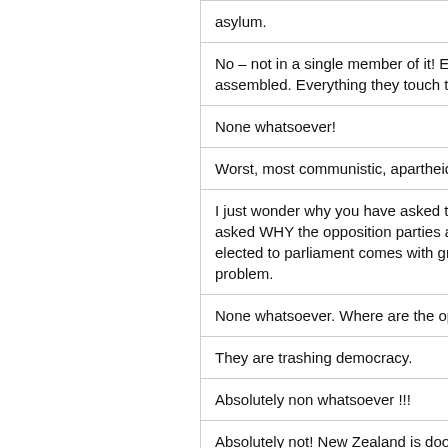asylum.
No – not in a single member of it! Easily the most corrupt and incompetent cabinet ever assembled. Everything they touch turns to sh*t and it will get a lot worse.
None whatsoever!
Worst, most communistic, apartheid government ever.
I just wonder why you have asked this question actually, as many of the comments have asked WHY the opposition parties are not asking the hard questions. I feel that being elected to parliament comes with great responsibility. It is always someone else's problem.
None whatsoever. Where are the opposition?
They are trashing democracy.
Absolutely non whatsoever !!!
Absolutely not! New Zealand is doomed due to this lot making us an apartheid country.
God help us. We are on the Road to hell !!
We are seeing too many diabolical developments.
Zero confidence. They have zero mandate for the covert agenda being done by stealth.